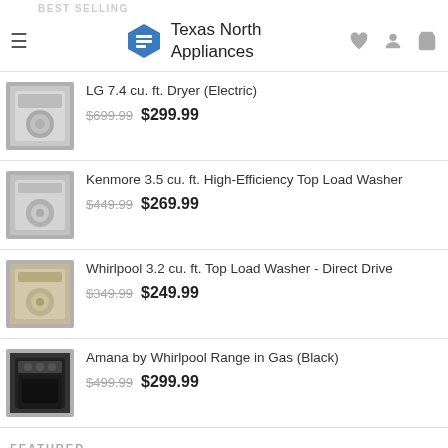Texas North Appliances
BEST SELLING
LG 7.4 cu. ft. Dryer (Electric) — $699.99  $299.99
Kenmore 3.5 cu. ft. High-Efficiency Top Load Washer — $449.99  $269.99
Whirlpool 3.2 cu. ft. Top Load Washer - Direct Drive — $349.99  $249.99
Amana by Whirlpool Range in Gas (Black) — $499.99  $299.99
FEATURED